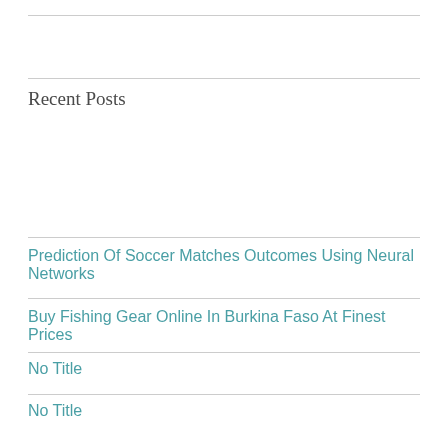Recent Posts
Prediction Of Soccer Matches Outcomes Using Neural Networks
Buy Fishing Gear Online In Burkina Faso At Finest Prices
No Title
No Title
Soccer Tips
Categories